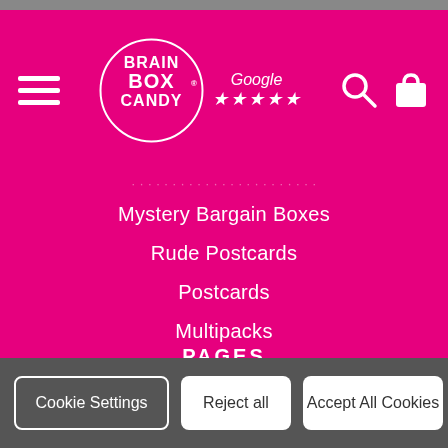[Figure (logo): BrainBox Candy logo - white bubbly text on pink circle, with Google 5-star rating next to it]
Mystery Bargain Boxes
Rude Postcards
Postcards
Multipacks
Sale
PAGES
Brainbox Candy Monthly Card Subscription
Cookie Settings   Reject all   Accept All Cookies